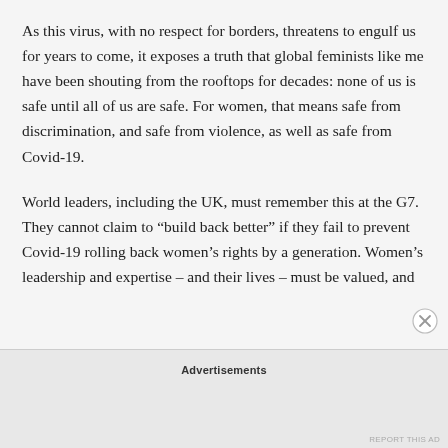As this virus, with no respect for borders, threatens to engulf us for years to come, it exposes a truth that global feminists like me have been shouting from the rooftops for decades: none of us is safe until all of us are safe. For women, that means safe from discrimination, and safe from violence, as well as safe from Covid-19.
World leaders, including the UK, must remember this at the G7. They cannot claim to "build back better" if they fail to prevent Covid-19 rolling back women's rights by a generation. Women's leadership and expertise – and their lives – must be valued, and
Advertisements